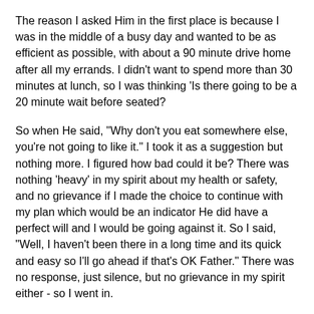The reason I asked Him in the first place is because I was in the middle of a busy day and wanted to be as efficient as possible, with about a 90 minute drive home after all my errands. I didn't want to spend more than 30 minutes at lunch, so I was thinking 'Is there going to be a 20 minute wait before seated?
So when He said, "Why don't you eat somewhere else, you're not going to like it." I took it as a suggestion but nothing more. I figured how bad could it be? There was nothing 'heavy' in my spirit about my health or safety, and no grievance if I made the choice to continue with my plan which would be an indicator He did have a perfect will and I would be going against it. So I said, "Well, I haven't been there in a long time and its quick and easy so I'll go ahead if that's OK Father." There was no response, just silence, but no grievance in my spirit either - so I went in.
I ordered Mozzarella sticks, a Caesar salad, and Chicken Parmesan